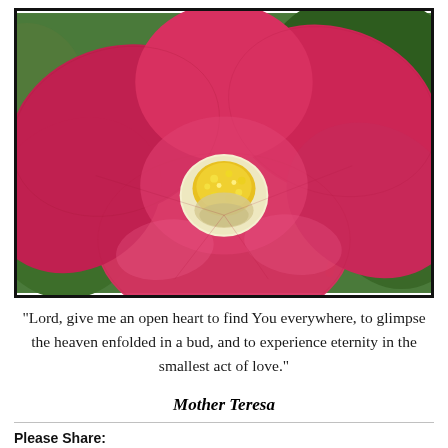[Figure (photo): Close-up photograph of a pink/red camellia flower with yellow stamens in the center, against a blurred green background. The photo is framed with a dark border.]
“Lord, give me an open heart to find You everywhere, to glimpse the heaven enfolded in a bud, and to experience eternity in the smallest act of love.”
Mother Teresa
Please Share: